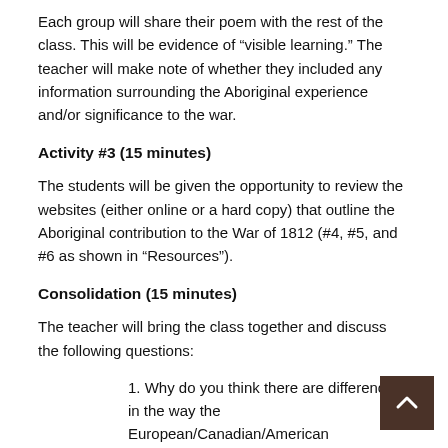Each group will share their poem with the rest of the class. This will be evidence of “visible learning.” The teacher will make note of whether they included any information surrounding the Aboriginal experience and/or significance to the war.
Activity #3 (15 minutes)
The students will be given the opportunity to review the websites (either online or a hard copy) that outline the Aboriginal contribution to the War of 1812 (#4, #5, and #6 as shown in “Resources”).
Consolidation (15 minutes)
The teacher will bring the class together and discuss the following questions:
1. Why do you think there are differences in the way the European/Canadian/American participation in the war is remembered as compared to the Aboriginal participation?